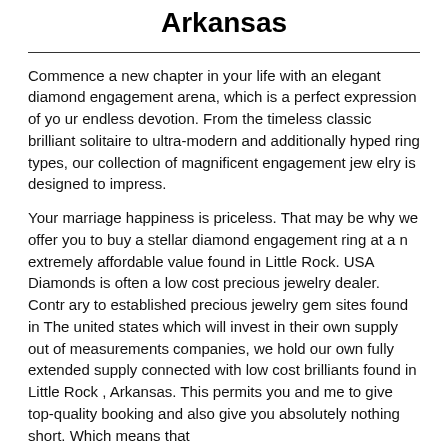Arkansas
Commence a new chapter in your life with an elegant diamond engagement arena, which is a perfect expression of your endless devotion. From the timeless classic brilliant solitaire to ultra-modern and additionally hyped ring types, our collection of magnificent engagement jewelry is designed to impress.
Your marriage happiness is priceless. That may be why we offer you to buy a stellar diamond engagement ring at an extremely affordable value found in Little Rock. USA Diamonds is often a low cost precious jewelry dealer. Contrary to established precious jewelry gem sites found in The united states which will invest in their own supply out of measurements companies, we hold our own fully extended supply connected with low cost brilliants found in Little Rock , Arkansas. This permits you and me to give top-quality booking and also give you absolutely nothing short. Which means that